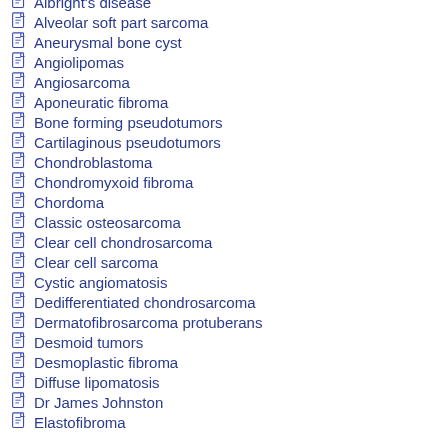Albright's disease
Alveolar soft part sarcoma
Aneurysmal bone cyst
Angiolipomas
Angiosarcoma
Aponeuratic fibroma
Bone forming pseudotumors
Cartilaginous pseudotumors
Chondroblastoma
Chondromyxoid fibroma
Chordoma
Classic osteosarcoma
Clear cell chondrosarcoma
Clear cell sarcoma
Cystic angiomatosis
Dedifferentiated chondrosarcoma
Dermatofibrosarcoma protuberans
Desmoid tumors
Desmoplastic fibroma
Diffuse lipomatosis
Dr James Johnston
Elastofibroma